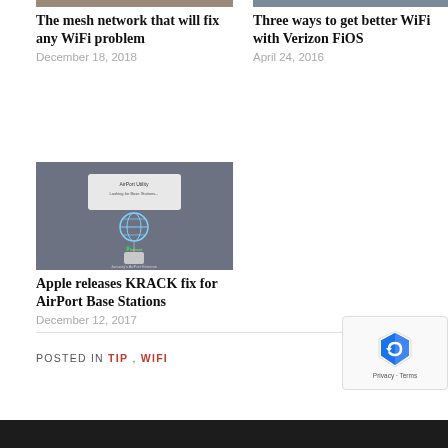[Figure (photo): Cropped image partially visible at top left — mesh network related photo]
The mesh network that will fix any WiFi problem
December 18, 2018
[Figure (photo): Cropped image partially visible at top right — Verizon FiOS related photo]
Three ways to get better WiFi with Verizon FiOS
April 24, 2016
[Figure (screenshot): Screenshot of Apple AirPort setup interface showing network globe and base station diagram]
Apple releases KRACK fix for AirPort Base Stations
December 12, 2017
POSTED IN TIP , WIFI
[Figure (logo): Google reCAPTCHA badge with Privacy and Terms links]